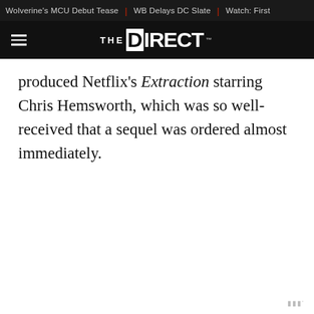Wolverine's MCU Debut Tease | WB Delays DC Slate | Watch: First
THE DIRECT
produced Netflix's Extraction starring Chris Hemsworth, which was so well-received that a sequel was ordered almost immediately.